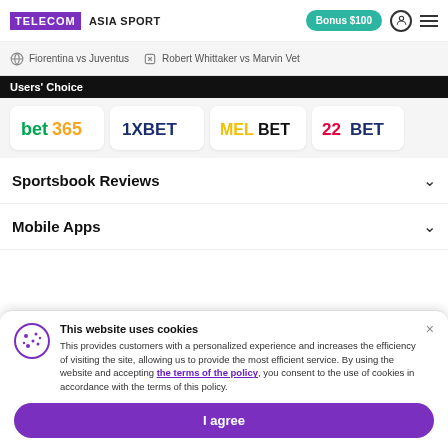TELECOM ASIA SPORT | Bonus $100
Fiorentina vs Juventus | Robert Whittaker vs Marvin Vet
Users' Choice
[Figure (logo): Bookmaker logos: bet365, 1XBET, MELBET, 22BET]
Sportsbook Reviews
Mobile Apps
This website uses cookies
This provides customers with a personalized experience and increases the efficiency of visiting the site, allowing us to provide the most efficient service. By using the website and accepting the terms of the policy, you consent to the use of cookies in accordance with the terms of this policy.
I agree